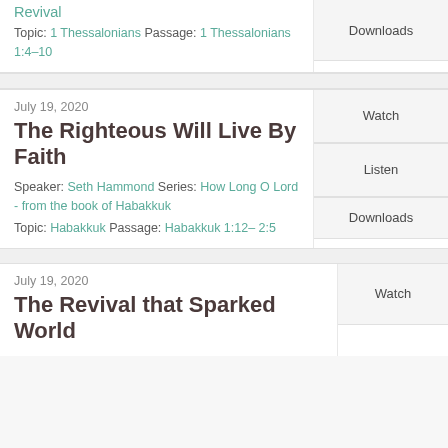Revival
Topic: 1 Thessalonians Passage: 1 Thessalonians 1:4–10
Downloads
July 19, 2020
The Righteous Will Live By Faith
Speaker: Seth Hammond Series: How Long O Lord - from the book of Habakkuk
Topic: Habakkuk Passage: Habakkuk 1:12– 2:5
Watch
Listen
Downloads
July 19, 2020
The Revival that Sparked World